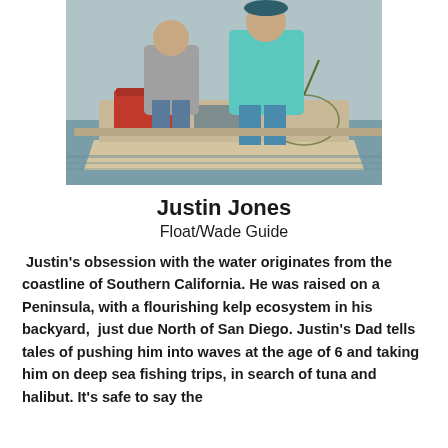[Figure (photo): Two people standing in a boat on water, one wearing a teal/aqua long-sleeve shirt and holding a fishing net.]
Justin Jones
Float/Wade Guide
Justin's obsession with the water originates from the coastline of Southern California. He was raised on a Peninsula, with a flourishing kelp ecosystem in his backyard,  just due North of San Diego. Justin's Dad tells tales of pushing him into waves at the age of 6 and taking him on deep sea fishing trips, in search of tuna and halibut. It's safe to say the